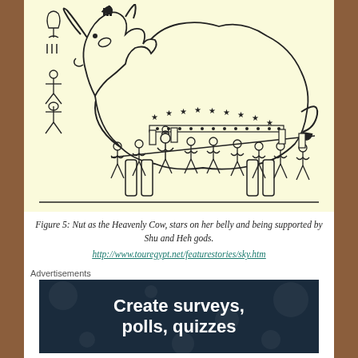[Figure (illustration): Ancient Egyptian illustration of Nut as the Heavenly Cow, depicted as a large cow with stars on her belly, supported underneath by multiple human figures (Shu and Heh gods) holding up the cow's belly with their arms raised. Egyptian hieroglyphic symbols are shown on the left side. The image has a pale yellow background.]
Figure 5: Nut as the Heavenly Cow, stars on her belly and being supported by Shu and Heh gods.
http://www.touregypt.net/featurestories/sky.htm
Advertisements
[Figure (screenshot): Dark navy blue advertisement banner with white bold text reading 'Create surveys, polls, quizzes' with scattered light dot decorations on dark background.]